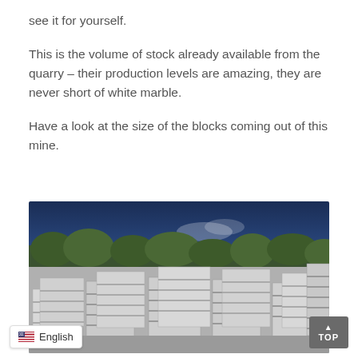see it for yourself.
This is the volume of stock already available from the quarry – their production levels are amazing, they are never short of white marble.
Have a look at the size of the blocks coming out of this mine.
[Figure (photo): Outdoor photograph of a large quarry yard stacked with numerous pallets of white marble blocks under a blue sky with trees in the background.]